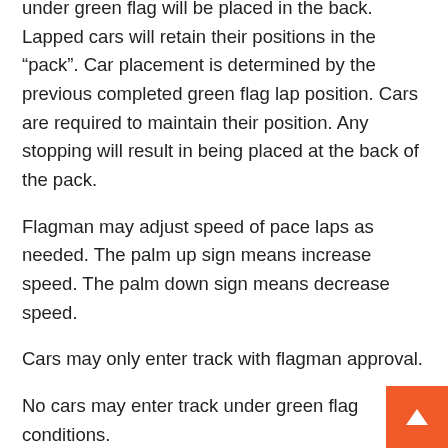under green flag will be placed in the back. Lapped cars will retain their positions in the “pack”. Car placement is determined by the previous completed green flag lap position. Cars are required to maintain their position. Any stopping will result in being placed at the back of the pack.
Flagman may adjust speed of pace laps as needed. The palm up sign means increase speed. The palm down sign means decrease speed.
Cars may only enter track with flagman approval.
No cars may enter track under green flag conditions.
Any display of violence or excessive foul language in the pit area WILL result in the on going participation b...